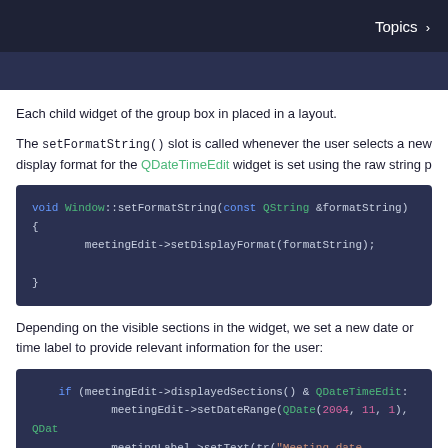Topics >
Each child widget of the group box in placed in a layout.
The setFormatString() slot is called whenever the user selects a new display format for the QDateTimeEdit widget is set using the raw string p
[Figure (screenshot): Code block showing void Window::setFormatString(const QString &formatString) { meetingEdit->setDisplayFormat(formatString); }]
Depending on the visible sections in the widget, we set a new date or time label to provide relevant information for the user:
[Figure (screenshot): Code block showing if (meetingEdit->displayedSections() & QDateTimeEdit:: meetingEdit->setDateRange(QDate(2004, 11, 1), QDat meetingLabel->setText(tr("Meeting date (between %0 .arg(meetingEdit->minimumDate().toString(Qt::]